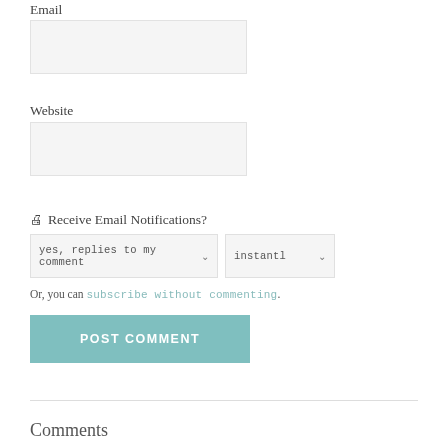Email
[Figure (other): Email text input field (empty, light gray background)]
Website
[Figure (other): Website text input field (empty, light gray background)]
🖨 Receive Email Notifications?
[Figure (other): Two dropdown selects: 'yes, replies to my comment' and 'instantl']
Or, you can subscribe without commenting.
[Figure (other): POST COMMENT button in teal/sage color]
Comments